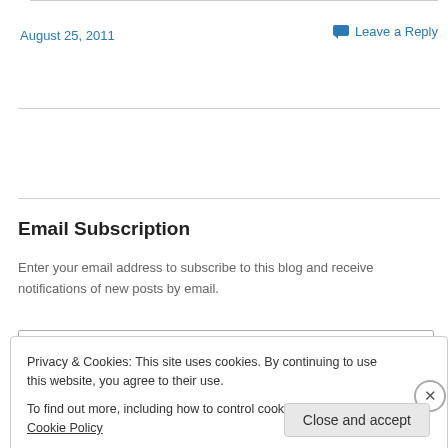August 25, 2011
Leave a Reply
Email Subscription
Enter your email address to subscribe to this blog and receive notifications of new posts by email.
Privacy & Cookies: This site uses cookies. By continuing to use this website, you agree to their use. To find out more, including how to control cookies, see here: Cookie Policy
Close and accept